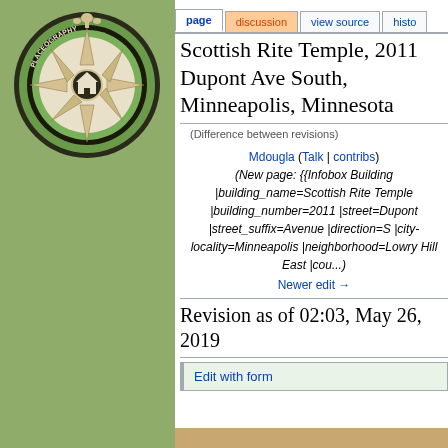[Figure (logo): Placeography compass rose logo with green and black circular design]
Log in
page | discussion | view source | history
Scottish Rite Temple, 2011 Dupont Ave South, Minneapolis, Minnesota
(Difference between revisions)
Mdougla (Talk | contribs)
(New page: {{Infobox Building |building_name=Scottish Rite Temple |building_number=2011 |street=Dupont |street_suffix=Avenue |direction=S |city-locality=Minneapolis |neighborhood=Lowry Hill East |cou...)
Newer edit →
Revision as of 02:03, May 26, 2019
Edit with form